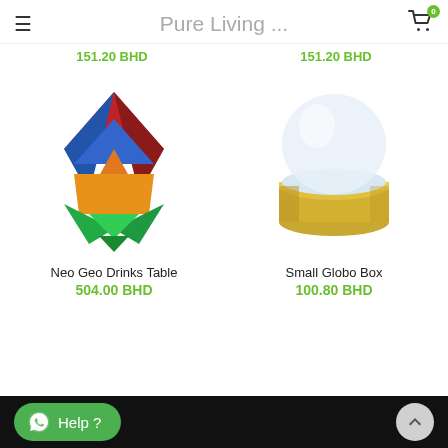Pure Living ...
151.20 BHD   151.20 BHD
[Figure (photo): Colorful geometric prism/crystal sculpture with red, blue, orange, and green facets on white background - Neo Geo Drinks Table product photo]
Neo Geo Drinks Table
504.00 BHD
[Figure (photo): Small gold cylindrical container with clear glass dome top - Small Globo Box product photo]
Small Globo Box
100.80 BHD